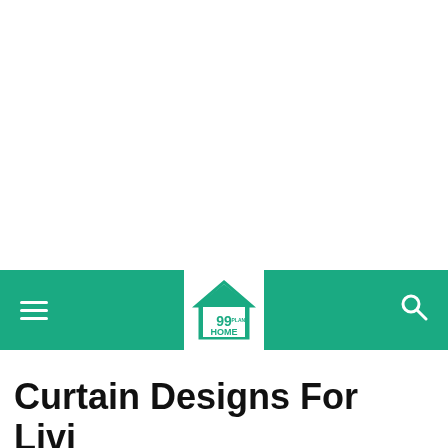[Figure (logo): 99 Home Plans logo inside white box on teal navigation bar]
Curtain Designs For Living Room Best & Modern Style